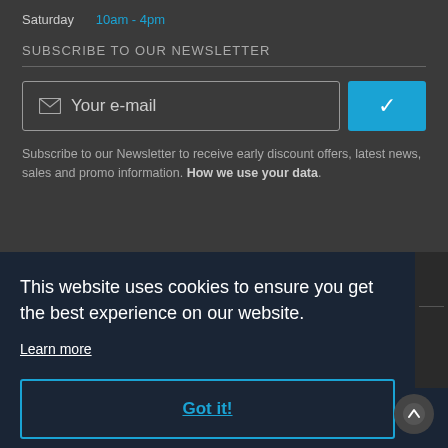Saturday  10am - 4pm
SUBSCRIBE TO OUR NEWSLETTER
Your e-mail
Subscribe to our Newsletter to receive early discount offers, latest news, sales and promo information. How we use your data.
This website uses cookies to ensure you get the best experience on our website.
Learn more
Got it!